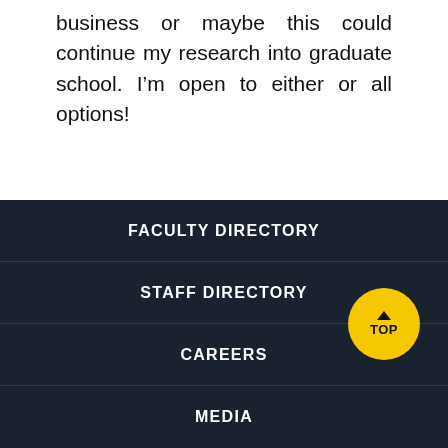business or maybe this could continue my research into graduate school. I'm open to either or all options!
FACULTY DIRECTORY
STAFF DIRECTORY
CAREERS
MEDIA